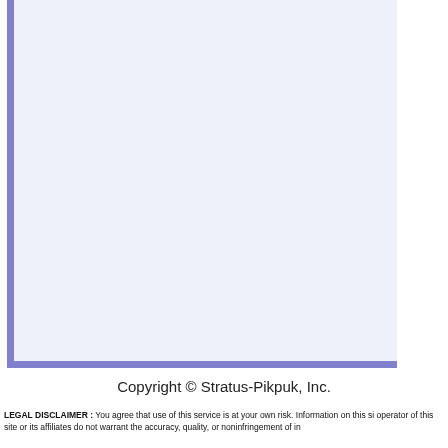[Figure (other): Large light blue/lavender rectangle with blue-purple border on left and bottom sides, serving as a content frame or box on the page.]
Copyright © Stratus-Pikpuk, Inc.
LEGAL DISCLAIMER : You agree that use of this service is at your own risk. Information on this si operator of this site or its affiliates do not warrant the accuracy, quality, or noninfringement of in